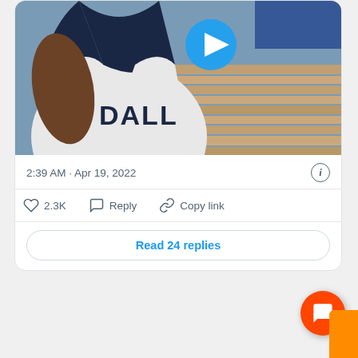[Figure (screenshot): Video thumbnail showing a Dallas Mavericks basketball player wearing a white DALL jersey, with a blue circular play button overlay. The background shows wooden court flooring.]
2:39 AM · Apr 19, 2022
2.3K  Reply  Copy link
Read 24 replies